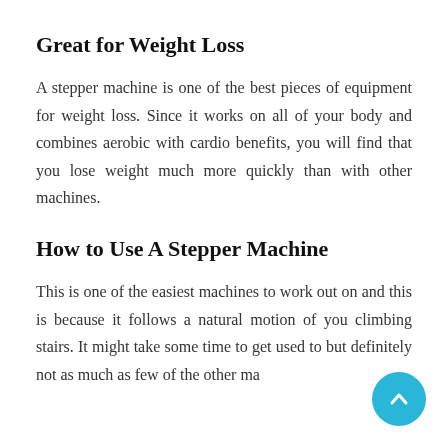Great for Weight Loss
A stepper machine is one of the best pieces of equipment for weight loss. Since it works on all of your body and combines aerobic with cardio benefits, you will find that you lose weight much more quickly than with other machines.
How to Use A Stepper Machine
This is one of the easiest machines to work out on and this is because it follows a natural motion of you climbing stairs. It might take some time to get used to but definitely not as much as few of the other ma…